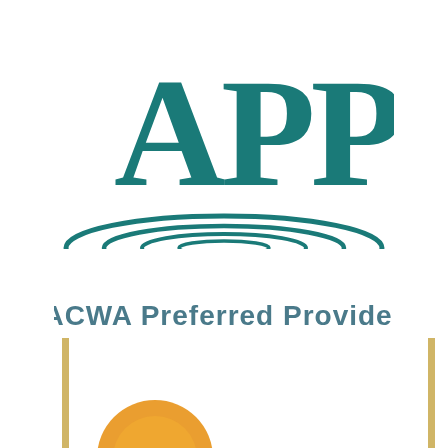[Figure (logo): APP logo with teal letters APP above concentric water ripple ellipses, and text 'ACWA Preferred Provider' below]
[Figure (logo): Partial view of another logo at the bottom of the page, showing vertical tan/gold bar lines and a partial orange/yellow circular emblem]